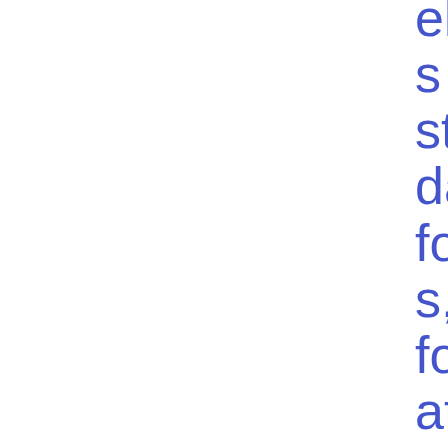elines on standard forms, formats and templates to apply for permission to operate a DLT market